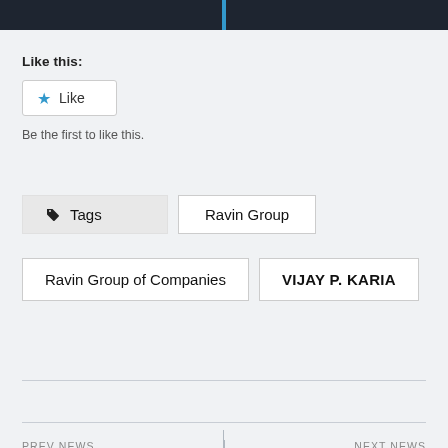Like this:
[Figure (other): Like button with blue star icon]
Be the first to like this.
Tags  Ravin Group
Ravin Group of Companies   VIJAY P. KARIA
PREV NEWS
IPESI Union, the World's
NEXT NEWS
Arsalan Kashi